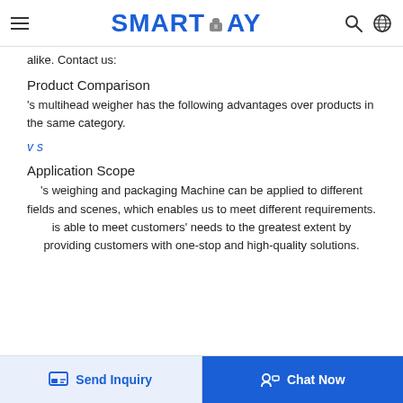SMARTPAY (logo with hamburger, search, and globe icons)
alike. Contact us:
Product Comparison
's multihead weigher has the following advantages over products in the same category.
v s
Application Scope
's weighing and packaging Machine can be applied to different fields and scenes, which enables us to meet different requirements. is able to meet customers' needs to the greatest extent by providing customers with one-stop and high-quality solutions.
Send Inquiry | Chat Now